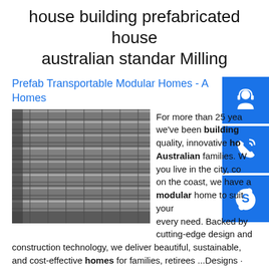house building prefabricated house australian standar Milling
Prefab Transportable Modular Homes - A Homes
[Figure (photo): Stacked steel I-beams/channels in a warehouse or industrial setting]
For more than 25 years, we've been building quality, innovative homes for Australian families. Whether you live in the city, country or on the coast, we have a modular home to suit your every need. Backed by cutting-edge design and construction technology, we deliver beautiful, sustainable, and cost-effective homes for families, retirees ...Designs · Modular Display Homes · Projects · Process · Pricing · Blogsp.info Explore furtherAllsteel Transportable Homes |